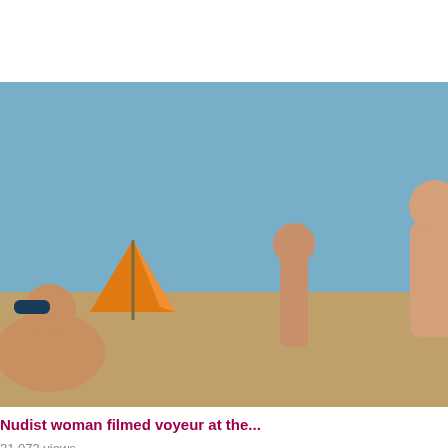14 499 views
10...
[Figure (photo): Beach scene with nudists, orange umbrella, blue sky]
Nudist woman filmed voyeur at the...
31 073 views
10...
[Figure (photo): Close-up of naked buttocks on beach towel]
Naked pussy at the beach caught v...
33 332 views
10...